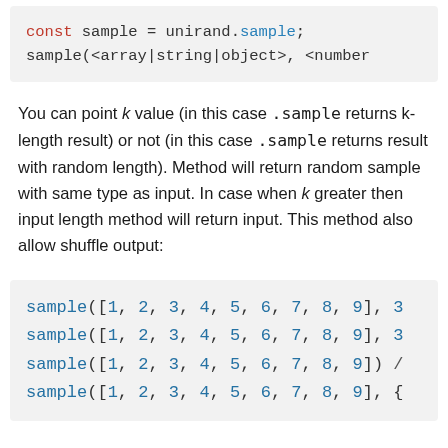[Figure (screenshot): Code block showing: const sample = unirand.sample; sample(<array|string|object>, <number]
You can point k value (in this case .sample returns k-length result) or not (in this case .sample returns result with random length). Method will return random sample with same type as input. In case when k greater then input length method will return input. This method also allow shuffle output:
[Figure (screenshot): Code block showing four lines: sample([1, 2, 3, 4, 5, 6, 7, 8, 9], 3 / sample([1, 2, 3, 4, 5, 6, 7, 8, 9], 3 / sample([1, 2, 3, 4, 5, 6, 7, 8, 9]) / sample([1, 2, 3, 4, 5, 6, 7, 8, 9], {]